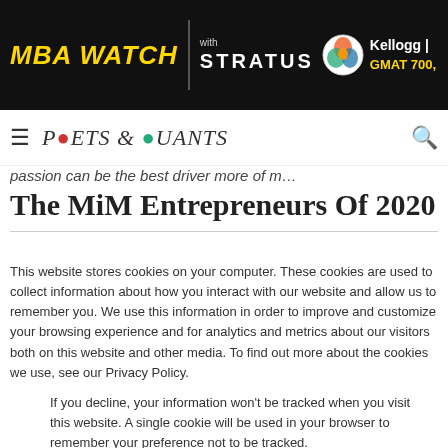MBA WATCH with STRATUS | Kellogg | GMAT 700,
≡ POETS & QUANTS 🔍
passion can be the best driver more of m…
The MiM Entrepreneurs Of 2020
This website stores cookies on your computer. These cookies are used to collect information about how you interact with our website and allow us to remember you. We use this information in order to improve and customize your browsing experience and for analytics and metrics about our visitors both on this website and other media. To find out more about the cookies we use, see our Privacy Policy.
If you decline, your information won't be tracked when you visit this website. A single cookie will be used in your browser to remember your preference not to be tracked.
Accept | Decline